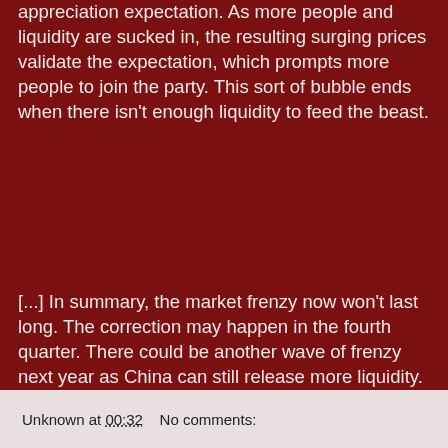appreciation expectation. As more people and liquidity are sucked in, the resulting surging prices validate the expectation, which prompts more people to join the party. This sort of bubble ends when there isn't enough liquidity to feed the beast.
[...] In summary, the market frenzy now won't last long. The correction may happen in the fourth quarter. There could be another wave of frenzy next year as China can still release more liquidity. When the dollar recovers, possibly in 2012, China's property and stock market could experience collapses like during the Asian Financial Crisis.
.
Unknown at 00:32    No comments: